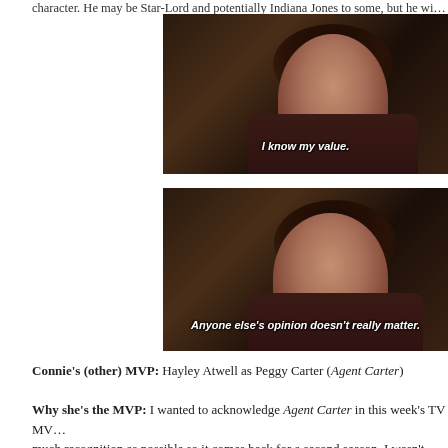character. He may be Star-Lord and potentially Indiana Jones to some, but he wi…
[Figure (screenshot): Screenshot from Agent Carter TV show: Hayley Atwell as Peggy Carter in a dark scene with subtitle 'I know my value.']
[Figure (screenshot): Screenshot from Agent Carter TV show: Hayley Atwell as Peggy Carter in a dark scene with subtitle 'Anyone else's opinion doesn't really matter.']
Connie's (other) MVP: Hayley Atwell as Peggy Carter (Agent Carter)
Why she's the MVP: I wanted to acknowledge Agent Carter in this week's TV MV… much recognition as possible so it comes back for a second season. I wasn't alwa…